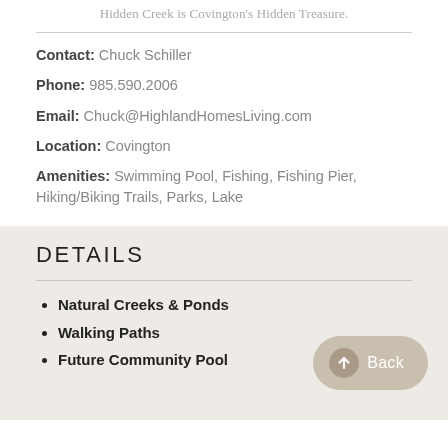Hidden Creek is Covington's Hidden Treasure.
Contact: Chuck Schiller
Phone: 985.590.2006
Email: Chuck@HighlandHomesLiving.com
Location: Covington
Amenities: Swimming Pool, Fishing, Fishing Pier, Hiking/Biking Trails, Parks, Lake
DETAILS
Natural Creeks & Ponds
Walking Paths
Future Community Pool